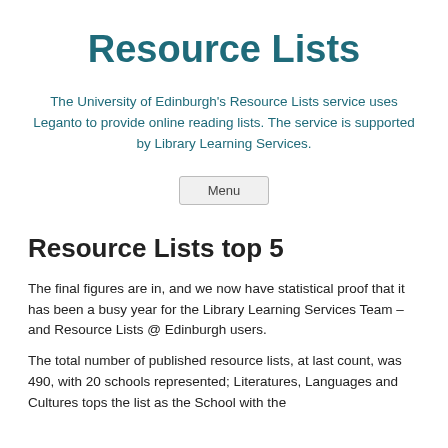Resource Lists
The University of Edinburgh's Resource Lists service uses Leganto to provide online reading lists. The service is supported by Library Learning Services.
Menu
Resource Lists top 5
The final figures are in, and we now have statistical proof that it has been a busy year for the Library Learning Services Team – and Resource Lists @ Edinburgh users.
The total number of published resource lists, at last count, was 490, with 20 schools represented; Literatures, Languages and Cultures tops the list as the School with the